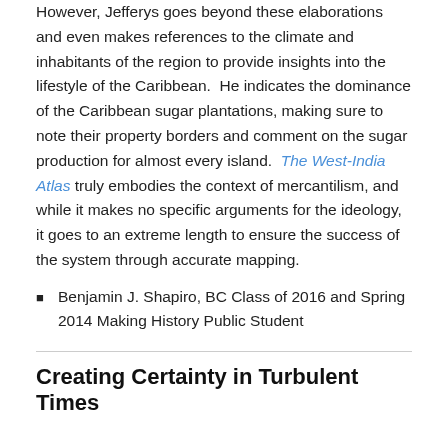However, Jefferys goes beyond these elaborations and even makes references to the climate and inhabitants of the region to provide insights into the lifestyle of the Caribbean. He indicates the dominance of the Caribbean sugar plantations, making sure to note their property borders and comment on the sugar production for almost every island. The West-India Atlas truly embodies the context of mercantilism, and while it makes no specific arguments for the ideology, it goes to an extreme length to ensure the success of the system through accurate mapping.
Benjamin J. Shapiro, BC Class of 2016 and Spring 2014 Making History Public Student
Creating Certainty in Turbulent Times